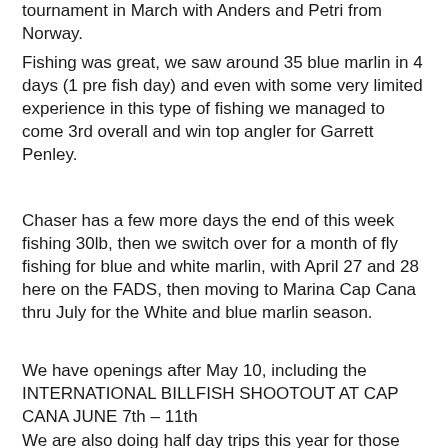tournament in March with Anders and Petri from Norway.
Fishing was great, we saw around 35 blue marlin in 4 days (1 pre fish day) and even with some very limited experience in this type of fishing we managed to come 3rd overall and win top angler for Garrett Penley.
Chaser has a few more days the end of this week fishing 30lb, then we switch over for a month of fly fishing for blue and white marlin, with April 27 and 28 here on the FADS, then moving to Marina Cap Cana thru July for the White and blue marlin season.
We have openings after May 10, including the INTERNATIONAL BILLFISH SHOOTOUT AT CAP CANA JUNE 7th – 11th
We are also doing half day trips this year for those